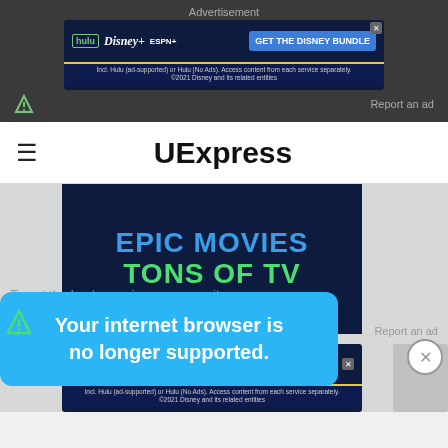Advertisement
[Figure (screenshot): Disney Bundle advertisement banner showing Hulu, Disney+, ESPN+ logos and 'GET THE DISNEY BUNDLE' button]
Report an ad
UExpress
[Figure (screenshot): Hulu streaming service advertisement showing 'EPIC MOVIES TONS OF TV' text on dark blue background]
Your internet browser is no longer supported.
To get the best experience on our site, we rec... latest v...
Report an ad
[Figure (screenshot): Disney Bundle advertisement banner showing Hulu, Disney+, ESPN+ logos and 'GET THE DISNEY BUNDLE' button (bottom)]